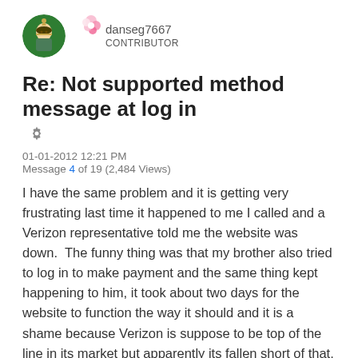[Figure (illustration): User avatar: circular green profile picture with a soldier/military figure, and a pink flower emoji badge next to it]
danseg7667
CONTRIBUTOR
Re: Not supported method message at log in
01-01-2012 12:21 PM
Message 4 of 19 (2,484 Views)
I have the same problem and it is getting very frustrating last time it happened to me I called and a Verizon representative told me the website was down.  The funny thing was that my brother also tried to log in to make payment and the same thing kept happening to him, it took about two days for the website to function the way it should and it is a shame because Verizon is suppose to be top of the line in its market but apparently its fallen short of that.